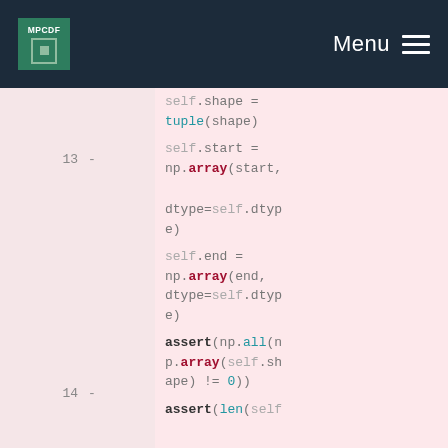MPCDF | Menu
Code diff showing Python lines 12-17 with self.shape, self.start, self.end, assert statements